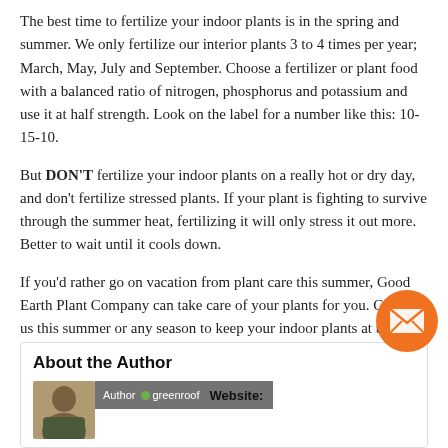The best time to fertilize your indoor plants is in the spring and summer. We only fertilize our interior plants 3 to 4 times per year; March, May, July and September. Choose a fertilizer or plant food with a balanced ratio of nitrogen, phosphorus and potassium and use it at half strength. Look on the label for a number like this: 10-15-10.
But DON'T fertilize your indoor plants on a really hot or dry day, and don't fertilize stressed plants. If your plant is fighting to survive through the summer heat, fertilizing it will only stress it out more. Better to wait until it cools down.
If you'd rather go on vacation from plant care this summer, Good Earth Plant Company can take care of your plants for you. Call on us this summer or any season to keep your indoor plants at their healthiest and happiest all year long.
About the Author
[Figure (photo): Author photo thumbnail of a person, with an overlay showing 'Author' and greenroof logo, and a Website: label]
[Figure (other): Orange circular email/envelope button overlay]